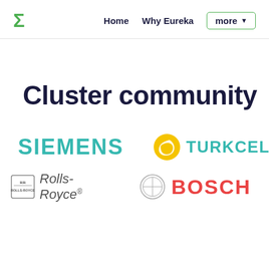Σ  Home  Why Eureka  more ▼
Cluster community
[Figure (logo): Siemens company logo in teal/turquoise color]
[Figure (logo): Turkcell company logo with yellow sun icon and teal text]
[Figure (logo): Rolls-Royce company logo with RR badge and italic text]
[Figure (logo): Bosch company logo with circular icon and red bold text]